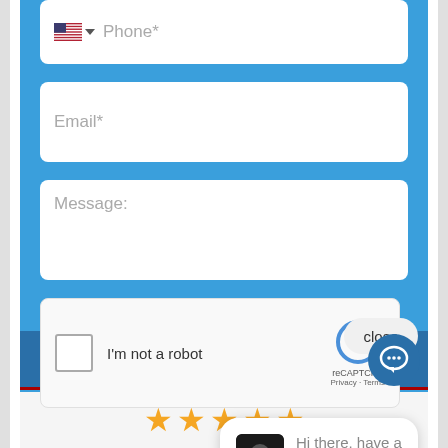[Figure (screenshot): Phone input field with US flag icon and placeholder text 'Phone*']
[Figure (screenshot): Email input field with placeholder text 'Email*']
[Figure (screenshot): Message textarea with placeholder text 'Message:']
[Figure (screenshot): reCAPTCHA widget with checkbox, 'I'm not a robot' text, reCAPTCHA logo, Privacy and Terms links, and a 'close' button]
[Figure (screenshot): Chat popup bubble with avatar image and text 'Hi there, have a question? Text us here.']
First Call Reviews
[Figure (illustration): Row of 5 gold star rating icons]